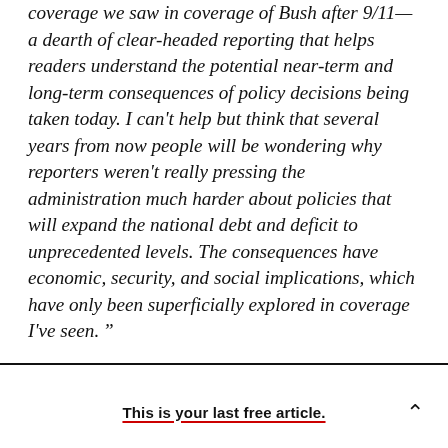coverage we saw in coverage of Bush after 9/11—a dearth of clear-headed reporting that helps readers understand the potential near-term and long-term consequences of policy decisions being taken today. I can't help but think that several years from now people will be wondering why reporters weren't really pressing the administration much harder about policies that will expand the national debt and deficit to unprecedented levels. The consequences have economic, security, and social implications, which have only been superficially explored in coverage I've seen."
This is your last free article.